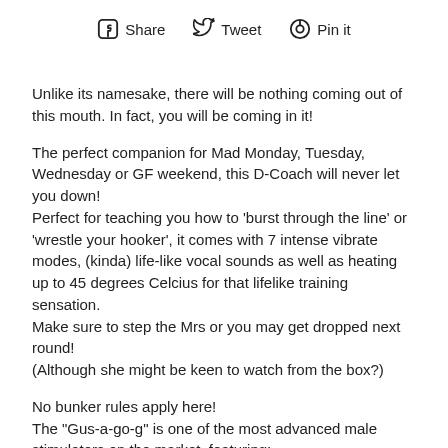Share   Tweet   Pin it
Unlike its namesake, there will be nothing coming out of this mouth. In fact, you will be coming in it!
The perfect companion for Mad Monday, Tuesday, Wednesday or GF weekend, this D-Coach will never let you down! Perfect for teaching you how to 'burst through the line' or 'wrestle your hooker', it comes with 7 intense vibrate modes, (kinda) life-like vocal sounds as well as heating up to 45 degrees Celcius for that lifelike training sensation.
Make sure to step the Mrs or you may get dropped next round!
(Although she might be keen to watch from the box?)
No bunker rules apply here!
The "Gus-a-go-g" is one of the most advanced male stimulators on the market, featuring: